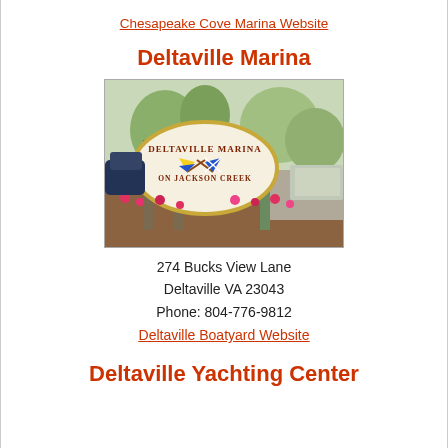Chesapeake Cove Marina Website
Deltaville Marina
[Figure (photo): Photo of Deltaville Marina on Jackson Creek signage with flowers and trees in background]
274 Bucks View Lane
Deltaville VA 23043
Phone: 804-776-9812
Deltaville Boatyard Website
Deltaville Yachting Center